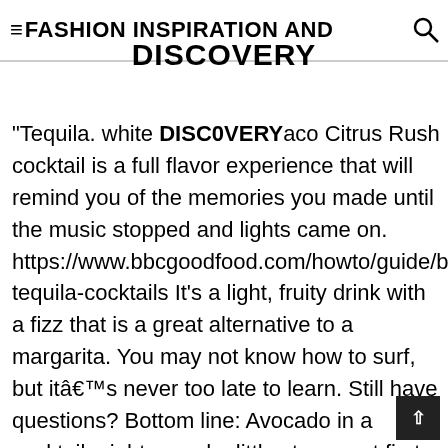FASHION INSPIRATION AND DISCOVERY
"Tequila. white DISCO0VERYaco Citrus Rush cocktail is a full flavor experience that will remind you of the memories you made until the music stopped and lights came on. https://www.bbcgoodfood.com/howto/guide/best-tequila-cocktails It's a light, fruity drink with a fizz that is a great alternative to a margarita. You may not know how to surf, but itâs never too late to learn. Still have questions? Bottom line: Avocado in a cocktail might sound a little strange at first, but the smoothness really adds another layer to what could be a typical tequila